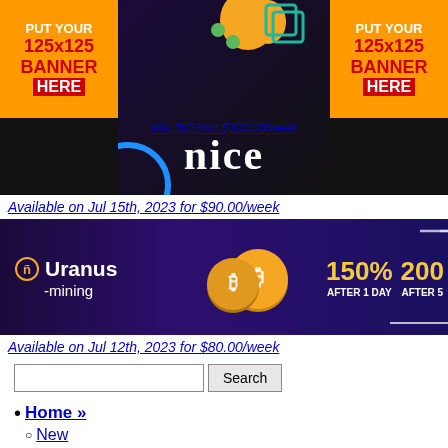[Figure (infographic): Top banner area with two orange 'PUT YOUR 125x125 BANNER HERE' ad placeholders on left and right, and a dark center with partial logo and 'nice' text. Partially visible link text '9th, 2023 for $100.00/week'.]
Available on Jul 15th, 2023 for $90.00/week
[Figure (infographic): Uranus Mining banner: dark purple/navy background, Uranus mining logo with gold icon, bitcoin coins, '150% AFTER 1 DAY', '200 AFTER 5' text in yellow.]
Available on Jul 12th, 2023 for $80.00/week
Home »
New
Premium
Normal
Trial
Free
Games